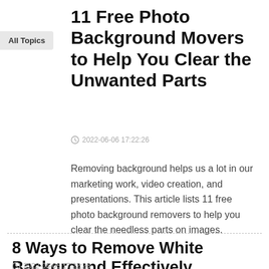All Topics
11 Free Photo Background Movers to Help You Clear the Unwanted Parts
2022-06-06 17:22:26
Removing background helps us a lot in our marketing work, video creation, and presentations. This article lists 11 free photo background removers to help you clear the needless parts on images.
8 Ways to Remove White Background Effectively
2022-06-06 17:22:26